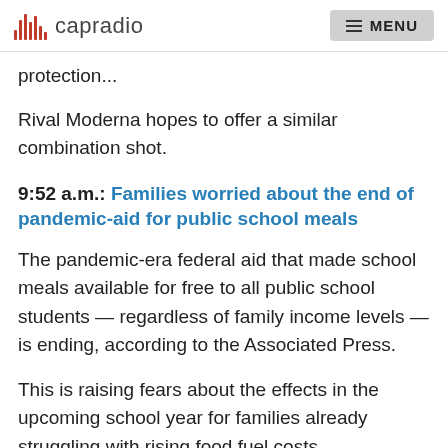capradio  MENU
protection...
Rival Moderna hopes to offer a similar combination shot.
9:52 a.m.: Families worried about the end of pandemic-aid for public school meals
The pandemic-era federal aid that made school meals available for free to all public school students — regardless of family income levels — is ending, according to the Associated Press.
This is raising fears about the effects in the upcoming school year for families already struggling with rising food fuel costs.